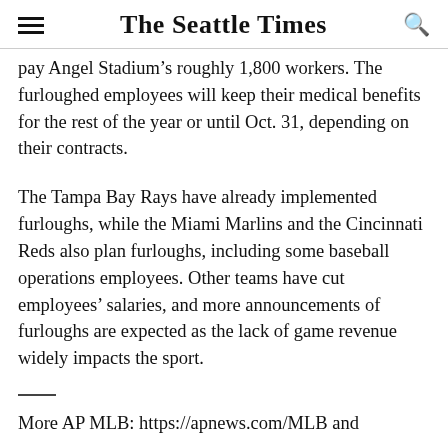The Seattle Times
pay Angel Stadium's roughly 1,800 workers. The furloughed employees will keep their medical benefits for the rest of the year or until Oct. 31, depending on their contracts.
The Tampa Bay Rays have already implemented furloughs, while the Miami Marlins and the Cincinnati Reds also plan furloughs, including some baseball operations employees. Other teams have cut employees' salaries, and more announcements of furloughs are expected as the lack of game revenue widely impacts the sport.
More AP MLB: https://apnews.com/MLB and